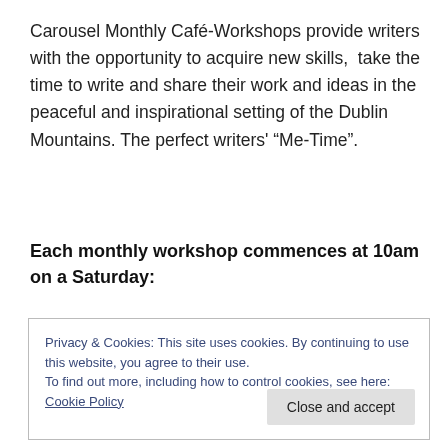Carousel Monthly Café-Workshops provide writers with the opportunity to acquire new skills,  take the time to write and share their work and ideas in the peaceful and inspirational setting of the Dublin Mountains. The perfect writers' “Me-Time”.
Each monthly workshop commences at 10am on a Saturday:
Privacy & Cookies: This site uses cookies. By continuing to use this website, you agree to their use.
To find out more, including how to control cookies, see here: Cookie Policy